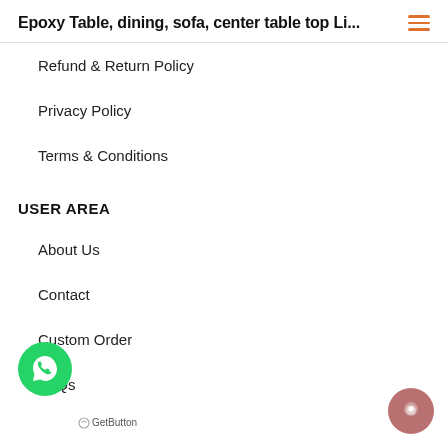Epoxy Table, dining, sofa, center table top Li...
Refund & Return Policy
Privacy Policy
Terms & Conditions
USER AREA
About Us
Contact
Custom Order
FAQs